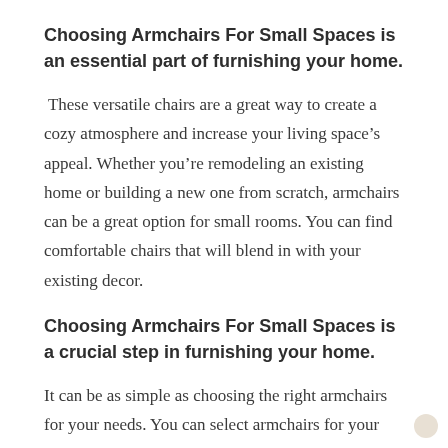Choosing Armchairs For Small Spaces is an essential part of furnishing your home.
These versatile chairs are a great way to create a cozy atmosphere and increase your living space’s appeal. Whether you’re remodeling an existing home or building a new one from scratch, armchairs can be a great option for small rooms. You can find comfortable chairs that will blend in with your existing decor.
Choosing Armchairs For Small Spaces is a crucial step in furnishing your home.
It can be as simple as choosing the right armchairs for your needs. You can select armchairs for your